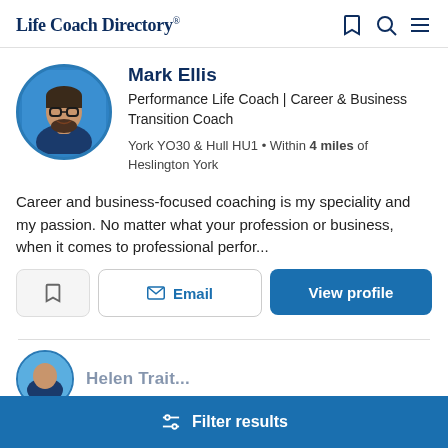Life Coach Directory®
Mark Ellis
Performance Life Coach | Career & Business Transition Coach
York YO30 & Hull HU1 • Within 4 miles of Heslington York
Career and business-focused coaching is my speciality and my passion. No matter what your profession or business, when it comes to professional perfor...
Filter results